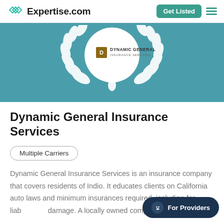Expertise.com | Get Listed
[Figure (logo): Dynamic General Insurance Services logo inside a white circular wreath badge on a teal banner background]
Dynamic General Insurance Services
Multiple Carriers
Dynamic General Insurance Services is an insurance company that covers residents of Indio. It educates clients on California auto laws and minimum insurances required, including for liability and damage. A locally owned company, its...